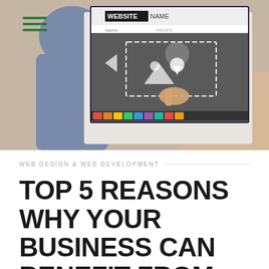[Figure (photo): Two people sitting in front of a computer monitor displaying a website design interface with a 'WEBSITE NAME' mockup and image editing tools. The person on the right is pointing at the screen.]
WEB DESIGN & WEB DEVELOPMENT
TOP 5 REASONS WHY YOUR BUSINESS CAN BENEFIT FROM